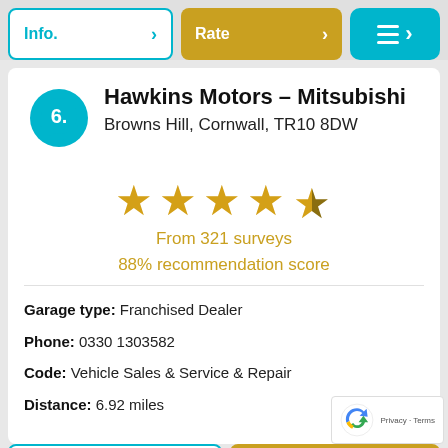[Figure (screenshot): Top navigation bar with Info button, Rate button, and hamburger menu button in cyan/gold colors]
Hawkins Motors – Mitsubishi
Browns Hill, Cornwall, TR10 8DW
[Figure (other): 4.5 star rating display with gold stars]
From 321 surveys
88% recommendation score
Garage type: Franchised Dealer
Phone: 0330 1303582
Code: Vehicle Sales & Service & Repair
Distance: 6.92 miles
[Figure (screenshot): Bottom navigation bar with Info button and Rate button]